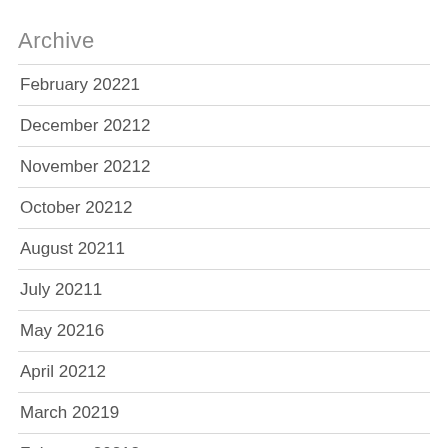Archive
February 20221
December 20212
November 20212
October 20212
August 20211
July 20211
May 20216
April 20212
March 20219
February 20218